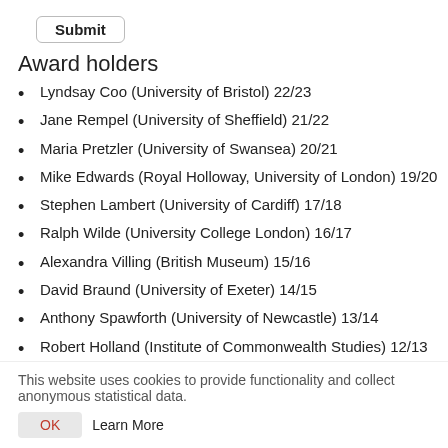[Figure (other): Submit button with rounded border]
Award holders
Lyndsay Coo (University of Bristol) 22/23
Jane Rempel (University of Sheffield) 21/22
Maria Pretzler (University of Swansea) 20/21
Mike Edwards (Royal Holloway, University of London) 19/20
Stephen Lambert (University of Cardiff) 17/18
Ralph Wilde (University College London) 16/17
Alexandra Villing (British Museum) 15/16
David Braund (University of Exeter) 14/15
Anthony Spawforth (University of Newcastle) 13/14
Robert Holland (Institute of Commonwealth Studies) 12/13
This website uses cookies to provide functionality and collect anonymous statistical data.
OK   Learn More